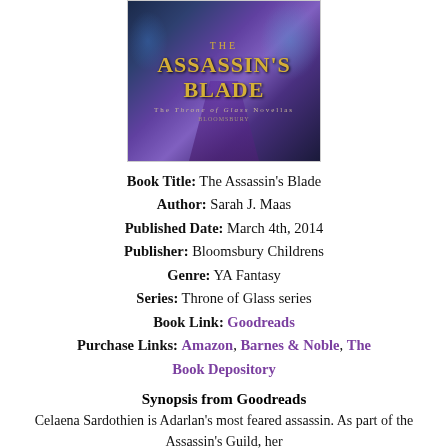[Figure (illustration): Book cover of The Assassin's Blade showing a figure in purple robes with gold text on a dark fantasy background]
Book Title: The Assassin's Blade
Author: Sarah J. Maas
Published Date: March 4th, 2014
Publisher: Bloomsbury Childrens
Genre: YA Fantasy
Series: Throne of Glass series
Book Link: Goodreads
Purchase Links: Amazon, Barnes & Noble, The Book Depository
Synopsis from Goodreads
Celaena Sardothien is Adarlan's most feared assassin. As part of the Assassin's Guild, her